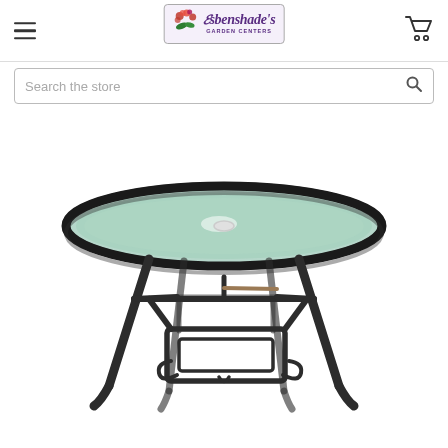Esbenshade's Garden Centers
Search the store
[Figure (photo): Round patio dining table with a textured glass top and dark metal frame/legs, featuring a lower cross-bar shelf structure with decorative scroll accents.]